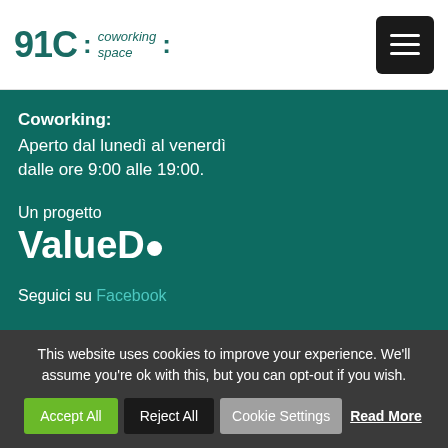91C : coworking space :
Coworking:
Aperto dal lunedì al venerdì dalle ore 9:00 alle 19:00.
Un progetto
ValueDo
Seguici su Facebook
NEWS
This website uses cookies to improve your experience. We'll assume you're ok with this, but you can opt-out if you wish.
Accept All | Reject All | Cookie Settings | Read More